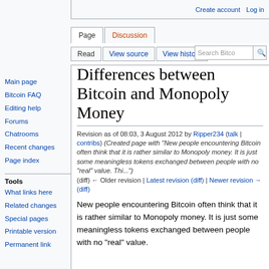Create account   Log in
Differences between Bitcoin and Monopoly Money
Revision as of 08:03, 3 August 2012 by Ripper234 (talk | contribs) (Created page with "New people encountering Bitcoin often think that it is rather similar to Monopoly money. It is just some meaningless tokens exchanged between people with no "real" value. Thi...") (diff) ← Older revision | Latest revision (diff) | Newer revision → (diff)
New people encountering Bitcoin often think that it is rather similar to Monopoly money. It is just some meaningless tokens exchanged between people with no "real" value.
Main page
Bitcoin FAQ
Editing help
Forums
Chatrooms
Recent changes
Page index
Tools
What links here
Related changes
Special pages
Printable version
Permanent link